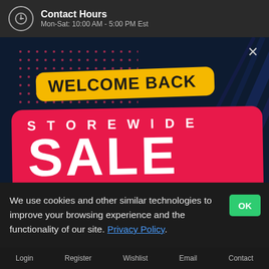Contact Hours
Mon-Sat: 10:00 AM - 5:00 PM Est
[Figure (illustration): Promotional web popup with dark blue background, decorative diagonal lines and dot grid pattern. A yellow rounded tag says WELCOME BACK and overlaps a large red rounded banner reading STOREWIDE SALE in bold white text. A close X button is in the top right.]
We use cookies and other similar technologies to improve your browsing experience and the functionality of our site. Privacy Policy.
Login   Register   Wishlist   Email   Contact